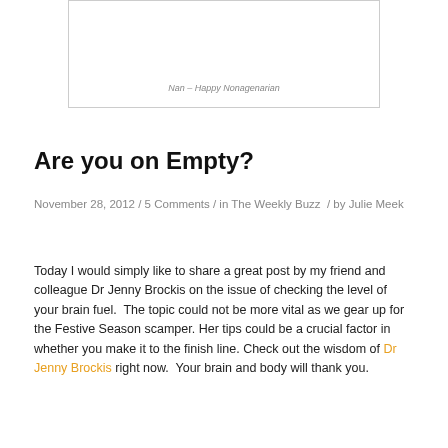[Figure (photo): White/blank image box with caption 'Nan – Happy Nonagenarian']
Nan – Happy Nonagenarian
Are you on Empty?
November 28, 2012 / 5 Comments / in The Weekly Buzz / by Julie Meek
Today I would simply like to share a great post by my friend and colleague Dr Jenny Brockis on the issue of checking the level of your brain fuel.  The topic could not be more vital as we gear up for the Festive Season scamper. Her tips could be a crucial factor in whether you make it to the finish line. Check out the wisdom of Dr Jenny Brockis right now.  Your brain and body will thank you.